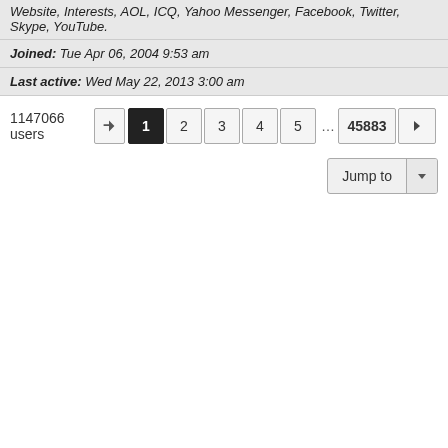Website, Interests, AOL, ICQ, Yahoo Messenger, Facebook, Twitter, Skype, YouTube.
Joined: Tue Apr 06, 2004 9:53 am
Last active: Wed May 22, 2013 3:00 am
1147066 users  1  2  3  4  5  ...  45883  >  Jump to